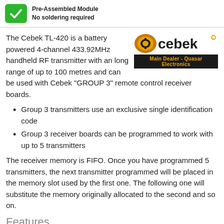Pre-Assembled Module
No soldering required
The Cebek TL-420 is a battery powered 4-channel 433.92MHz handheld RF transmitter with an long range of up to 100 metres and can be used with Cebek "GROUP 3" remote control receiver boards.
[Figure (logo): Cebek logo with orange icon and text, Main Dealer - Quasar Electronics banner below]
Group 3 transmitters use an exclusive single identification code
Group 3 receiver boards can be programmed to work with up to 5 transmitters
The receiver memory is FIFO. Once you have programmed 5 transmitters, the next transmitter programmed will be placed in the memory slot used by the first one. The following one will substitute the memory originally allocated to the second and so on.
Features
Long range of up to 100 metres